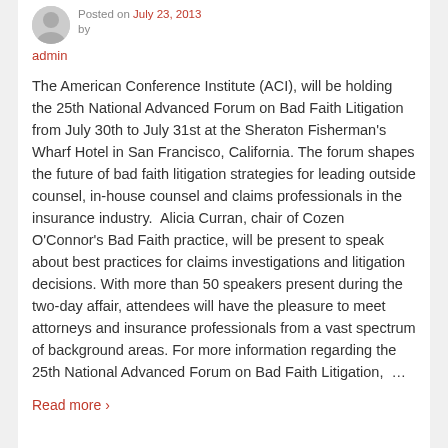Posted on July 23, 2013 by admin
The American Conference Institute (ACI), will be holding the 25th National Advanced Forum on Bad Faith Litigation from July 30th to July 31st at the Sheraton Fisherman's Wharf Hotel in San Francisco, California. The forum shapes the future of bad faith litigation strategies for leading outside counsel, in-house counsel and claims professionals in the insurance industry. Alicia Curran, chair of Cozen O'Connor's Bad Faith practice, will be present to speak about best practices for claims investigations and litigation decisions. With more than 50 speakers present during the two-day affair, attendees will have the pleasure to meet attorneys and insurance professionals from a vast spectrum of background areas. For more information regarding the 25th National Advanced Forum on Bad Faith Litigation, …
Read more ›